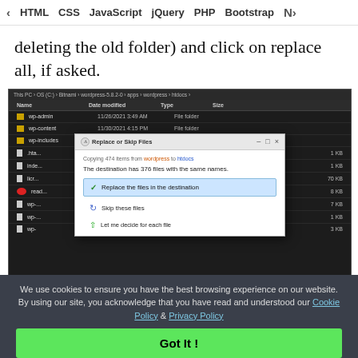< HTML  CSS  JavaScript  jQuery  PHP  Bootstrap  N>
deleting the old folder) and click on replace all, if asked.
[Figure (screenshot): Windows File Explorer showing WordPress htdocs folder with folders wp-admin, wp-content, wp-includes and several files. A 'Replace or Skip Files' dialog is overlaid showing 'Copying 474 items from wordpress to htdocs', 'The destination has 376 files with the same names', with options: 'Replace the files in the destination' (selected/highlighted), 'Skip these files', and 'Let me decide for each file'.]
We use cookies to ensure you have the best browsing experience on our website. By using our site, you acknowledge that you have read and understood our Cookie Policy & Privacy Policy
Got It !